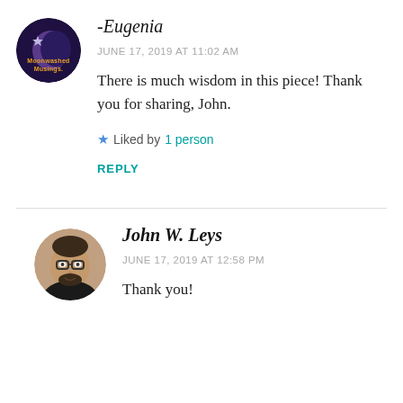[Figure (illustration): Circular avatar for Moonwashed Musings blog — dark purple/blue moon and star design with text 'Moonwashed Musings' in orange/yellow lettering]
-Eugenia
JUNE 17, 2019 AT 11:02 AM
There is much wisdom in this piece! Thank you for sharing, John.
Liked by 1 person
REPLY
[Figure (photo): Circular avatar photo of John W. Leys — man with glasses, beard, wearing dark shirt]
John W. Leys
JUNE 17, 2019 AT 12:58 PM
Thank you!